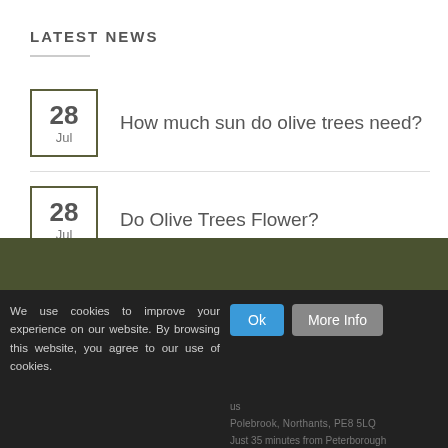LATEST NEWS
28 Jul — How much sun do olive trees need?
28 Jul — Do Olive Trees Flower?
08 Jul — How to Repot an Olive Tree
05 Jul — How to Bring an Olive Tree Back to Life
We use cookies to improve your experience on our website. By browsing this website, you agree to our use of cookies. Ok  More Info